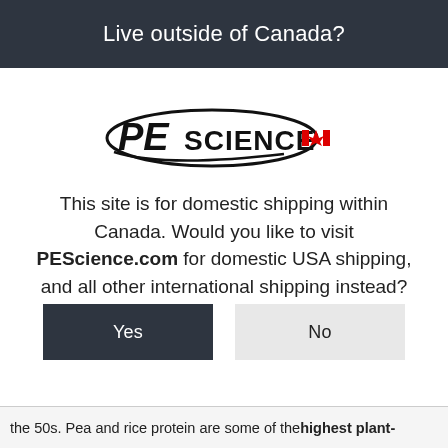Live outside of Canada?
[Figure (logo): PEScience logo with text 'PEScience' in bold italic style inside an oval swoosh, with a small Canadian maple leaf flag icon to the right]
This site is for domestic shipping within Canada. Would you like to visit PEScience.com for domestic USA shipping, and all other international shipping instead?
Yes
No
the 50s. Pea and rice protein are some of the highest plant-